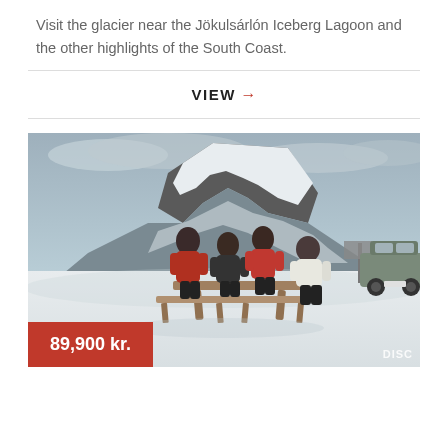Visit the glacier near the Jökulsárlón Iceberg Lagoon and the other highlights of the South Coast.
VIEW →
[Figure (photo): Group of four people sitting at a wooden picnic table on a snow-covered glacier with a dramatic rocky snow-capped mountain in the background and a 4x4 vehicle parked to the right. Price badge showing 89,900 kr. in red at bottom left, and DISC text at bottom right.]